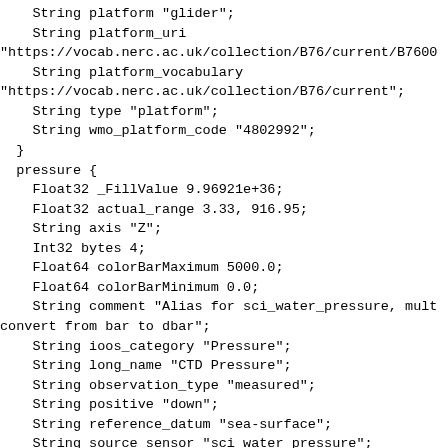String platform "glider";
    String platform_uri
"https://vocab.nerc.ac.uk/collection/B76/current/B7600
    String platform_vocabulary
"https://vocab.nerc.ac.uk/collection/B76/current";
    String type "platform";
    String wmo_platform_code "4802992";
  }
  pressure {
    Float32 _FillValue 9.96921e+36;
    Float32 actual_range 3.33, 916.95;
    String axis "Z";
    Int32 bytes 4;
    Float64 colorBarMaximum 5000.0;
    Float64 colorBarMinimum 0.0;
    String comment "Alias for sci_water_pressure, mult
convert from bar to dbar";
    String ioos_category "Pressure";
    String long_name "CTD Pressure";
    String observation_type "measured";
    String positive "down";
    String reference_datum "sea-surface";
    String source_sensor "sci_water_pressure";
    String standard_name "sea_water_pressure";
    String units "bar";